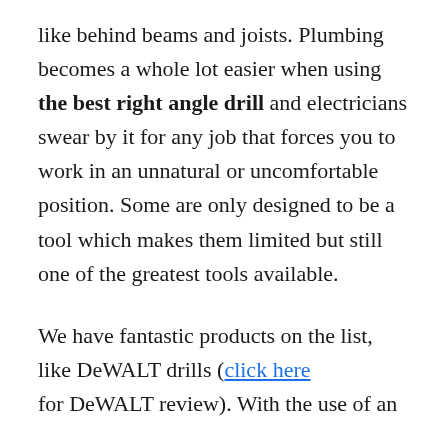like behind beams and joists. Plumbing becomes a whole lot easier when using the best right angle drill and electricians swear by it for any job that forces you to work in an unnatural or uncomfortable position. Some are only designed to be a tool which makes them limited but still one of the greatest tools available.
We have fantastic products on the list, like DeWALT drills (click here for DeWALT review). With the use of an
extension cord, your reach is extended even